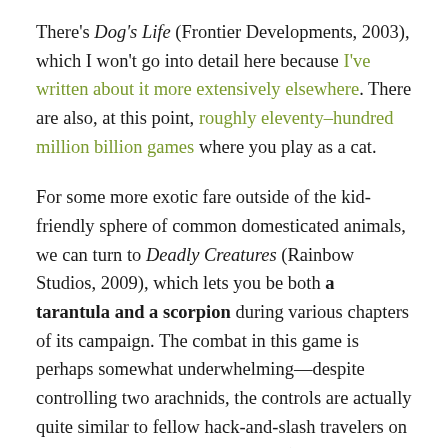There's Dog's Life (Frontier Developments, 2003), which I won't go into detail here because I've written about it more extensively elsewhere. There are also, at this point, roughly eleventy–hundred million billion games where you play as a cat.
For some more exotic fare outside of the kid-friendly sphere of common domesticated animals, we can turn to Deadly Creatures (Rainbow Studios, 2009), which lets you be both a tarantula and a scorpion during various chapters of its campaign. The combat in this game is perhaps somewhat underwhelming—despite controlling two arachnids, the controls are actually quite similar to fellow hack-and-slash travelers on the Wii, such as No More Heroes (Grasshopper Manufacture, 2007) or MadWorld (PlatinumGames, 2009). Still, though, the game's play with scale, especially when paired with the